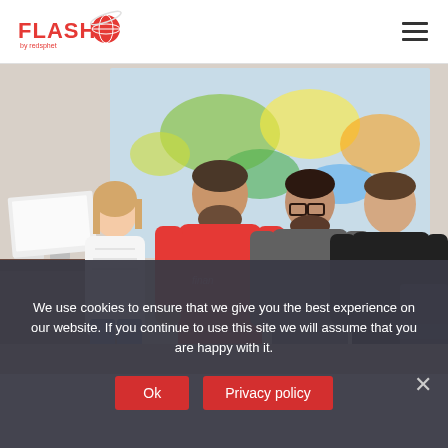FLASH by redsphet — navigation header with logo and hamburger menu
[Figure (photo): Group photo of four people (three men and one woman) standing together in an office room with a colorful world map on the wall behind them]
We use cookies to ensure that we give you the best experience on our website. If you continue to use this site we will assume that you are happy with it.
Ok   Privacy policy